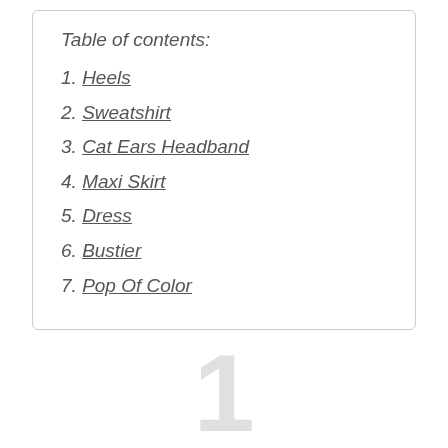Table of contents:
1. Heels
2. Sweatshirt
3. Cat Ears Headband
4. Maxi Skirt
5. Dress
6. Bustier
7. Pop Of Color
1